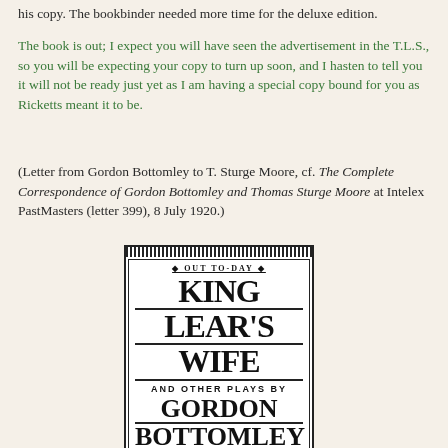his copy. The bookbinder needed more time for the deluxe edition.
The book is out; I expect you will have seen the advertisement in the T.L.S., so you will be expecting your copy to turn up soon, and I hasten to tell you it will not be ready just yet as I am having a special copy bound for you as Ricketts meant it to be.
(Letter from Gordon Bottomley to T. Sturge Moore, cf. The Complete Correspondence of Gordon Bottomley and Thomas Sturge Moore at Intelex PastMasters (letter 399), 8 July 1920.)
[Figure (illustration): Advertisement for 'King Lear's Wife and Other Plays by Gordon Bottomley', showing the title in large decorative type with ornamental borders and stripes. Includes 'OUT TO-DAY' at the top.]